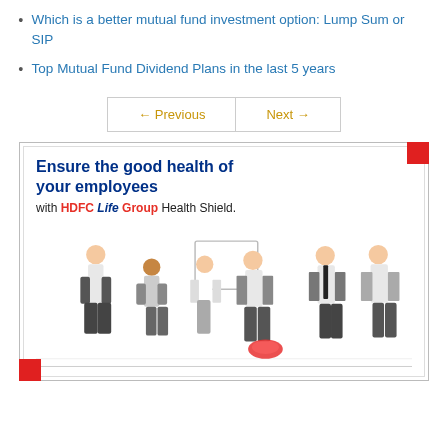Which is a better mutual fund investment option: Lump Sum or SIP
Top Mutual Fund Dividend Plans in the last 5 years
← Previous   Next →
[Figure (illustration): HDFC Life Group Health Shield advertisement showing office employees playing with a frisbee. Text reads: Ensure the good health of your employees with HDFC Life Group Health Shield.]